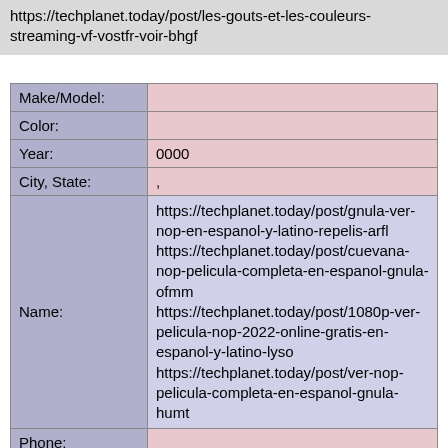https://techplanet.today/post/les-gouts-et-les-couleurs-streaming-vf-vostfr-voir-bhgf
| Field | Value |
| --- | --- |
| Make/Model: |  |
| Color: |  |
| Year: | 0000 |
| City, State: | , |
| Name: | https://techplanet.today/post/gnula-ver-nop-en-espanol-y-latino-repelis-arfl https://techplanet.today/post/cuevana-nop-pelicula-completa-en-espanol-gnula-ofmm https://techplanet.today/post/1080p-ver-pelicula-nop-2022-online-gratis-en-espanol-y-latino-lyso https://techplanet.today/post/ver-nop-pelicula-completa-en-espanol-gnula-humt |
| Phone: |  |
| Vin: |  |
| Plate: |  |
| email |  |
| Date of theft: | 0000-00-00 |